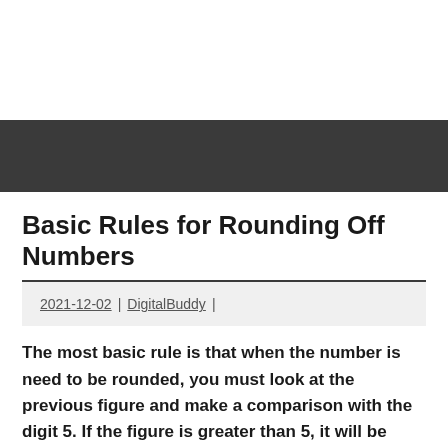Basic Rules for Rounding Off Numbers
2021-12-02 | DigitalBuddy |
The most basic rule is that when the number is need to be rounded, you must look at the previous figure and make a comparison with the digit 5. If the figure is greater than 5, it will be rounded to the larger number, and if it is less than five, in this case, it would be rounded to that